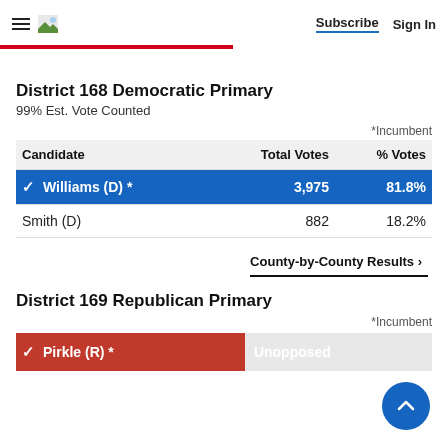Subscribe  Sign In
District 168 Democratic Primary
99% Est. Vote Counted
*Incumbent
| Candidate | Total Votes | % Votes |
| --- | --- | --- |
| ✓ Williams (D) * | 3,975 | 81.8% |
| Smith (D) | 882 | 18.2% |
County-by-County Results ›
District 169 Republican Primary
*Incumbent
| Candidate | Total Votes | % Votes |
| --- | --- | --- |
| ✓ Pirkle (R) * | Unopposed |  |